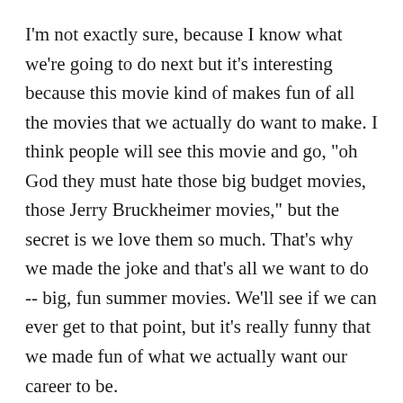I'm not exactly sure, because I know what we're going to do next but it's interesting because this movie kind of makes fun of all the movies that we actually do want to make. I think people will see this movie and go, "oh God they must hate those big budget movies, those Jerry Bruckheimer movies," but the secret is we love them so much. That's why we made the joke and that's all we want to do -- big, fun summer movies. We'll see if we can ever get to that point, but it's really funny that we made fun of what we actually want our career to be.
What is next for you guys?
We have something in the works that I can't really